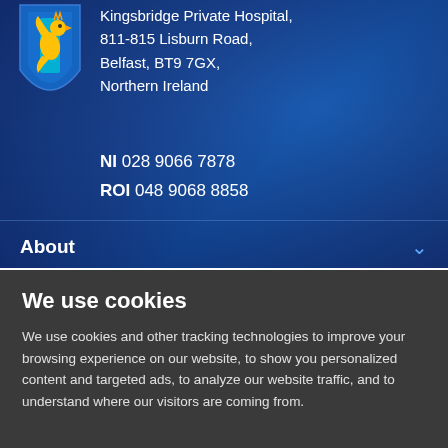[Figure (logo): Kingsbridge Private Hospital shield logo with golden griffin and blue shield]
Kingsbridge Private Hospital, 811-815 Lisburn Road, Belfast, BT9 7GX, Northern Ireland
NI 028 9066 7878
ROI 048 9068 8858
About
We use cookies
We use cookies and other tracking technologies to improve your browsing experience on our website, to show you personalized content and targeted ads, to analyze our website traffic, and to understand where our visitors are coming from.